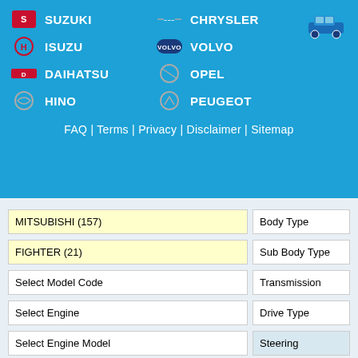SUZUKI
CHRYSLER
ISUZU
VOLVO
DAIHATSU
OPEL
HINO
PEUGEOT
FAQ | Terms | Privacy | Disclaimer | Sitemap
[Figure (screenshot): Vehicle search form with dropdowns: MITSUBISHI (157), FIGHTER (21), Select Model Code, Select Engine, Select Engine Model, Fuel on left; Body Type, Sub Body Type, Transmission, Drive Type, Steering, Color on right; checkboxes for Sale and Reco; red SEARCH button]